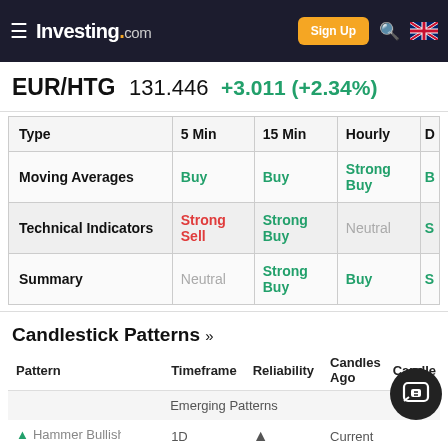Investing.com — Sign Up
EUR/HTG 131.446 +3.011 (+2.34%)
| Type | 5 Min | 15 Min | Hourly | D |
| --- | --- | --- | --- | --- |
| Moving Averages | Buy | Buy | Strong Buy | B |
| Technical Indicators | Strong Sell | Strong Buy | Neutral | S |
| Summary | Neutral | Strong Buy | Buy | S |
Candlestick Patterns »
| Pattern | Timeframe | Reliability | Candles Ago | Candle |
| --- | --- | --- | --- | --- |
| Emerging Patterns |  |  |  |  |
| Hammer Bullish | 1D |  | Current |  |
ADVERTISEMENT
In-store shopping
Curbside pickup